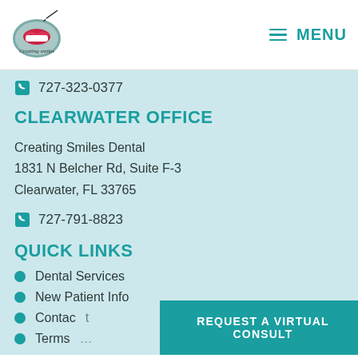Creating Smiles logo and MENU navigation
727-323-0377
CLEARWATER OFFICE
Creating Smiles Dental
1831 N Belcher Rd, Suite F-3
Clearwater, FL 33765
727-791-8823
QUICK LINKS
Dental Services
New Patient Info
Contact
Terms
REQUEST A VIRTUAL CONSULT